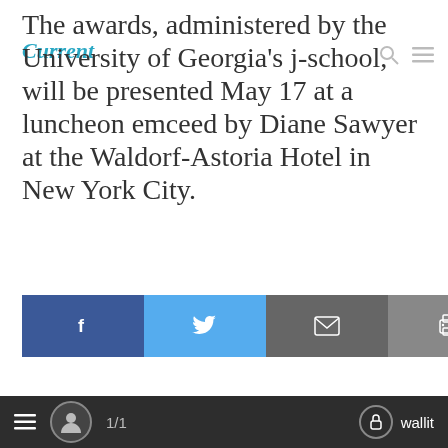Current
The awards, administered by the University of Georgia's j-school, will be presented May 17 at a luncheon emceed by Diane Sawyer at the Waldorf-Astoria Hotel in New York City.
[Figure (infographic): Social share bar with Facebook, Twitter, email, print, and plus buttons]
FILED UNDER: PEOPLE | AMERICAN MASTERS | AWARDS | DIANE REHM | FRONTLINE | INDEPENDENT LENS | KCET | MASTERPIECE | NANCY SOLOMON | NPR | OREGON PUBLIC BROADCASTING | PEABODY AWARDS | SESAME STREET | SORAYA
1/1  wallit